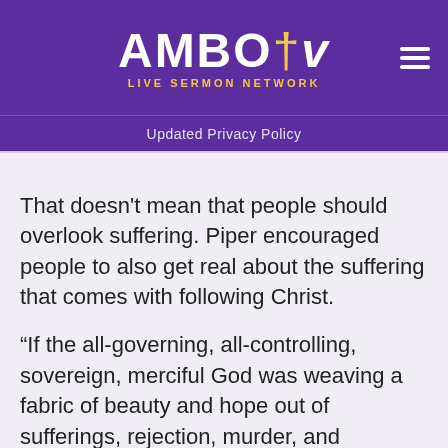AMBO tv LIVE SERMON NETWORK
Updated Privacy Policy
That doesn't mean that people should overlook suffering. Piper encouraged people to also get real about the suffering that comes with following Christ.
“If the all-governing, all-controlling, sovereign, merciful God was weaving a fabric of beauty and hope out of sufferings, rejection, murder, and resurrection of the Son of Man — if he was weaving, stitching, in his sovereignty, a fabric out of horrors upon horrors of sinful rejection and